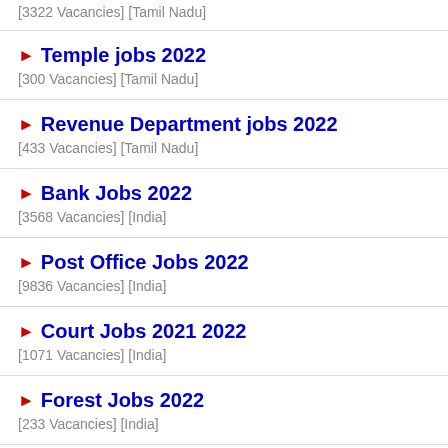[3322 Vacancies] [Tamil Nadu]
► Temple jobs 2022
[300 Vacancies] [Tamil Nadu]
► Revenue Department jobs 2022
[433 Vacancies] [Tamil Nadu]
► Bank Jobs 2022
[3568 Vacancies] [India]
► Post Office Jobs 2022
[9836 Vacancies] [India]
► Court Jobs 2021 2022
[1071 Vacancies] [India]
► Forest Jobs 2022
[233 Vacancies] [India]